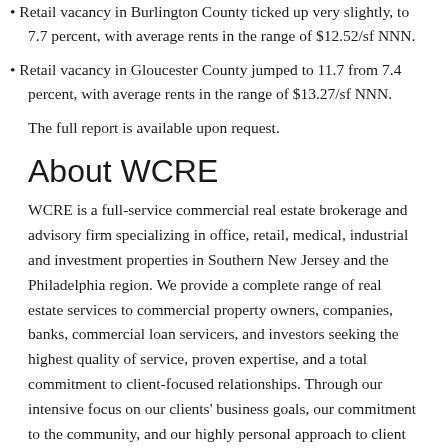Retail vacancy in Burlington County ticked up very slightly, to 7.7 percent, with average rents in the range of $12.52/sf NNN.
Retail vacancy in Gloucester County jumped to 11.7 from 7.4 percent, with average rents in the range of $13.27/sf NNN.
The full report is available upon request.
About WCRE
WCRE is a full-service commercial real estate brokerage and advisory firm specializing in office, retail, medical, industrial and investment properties in Southern New Jersey and the Philadelphia region. We provide a complete range of real estate services to commercial property owners, companies, banks, commercial loan servicers, and investors seeking the highest quality of service, proven expertise, and a total commitment to client-focused relationships. Through our intensive focus on our clients' business goals, our commitment to the community, and our highly personal approach to client service, WCRE is creating a new culture and a higher standard. We go well beyond helping